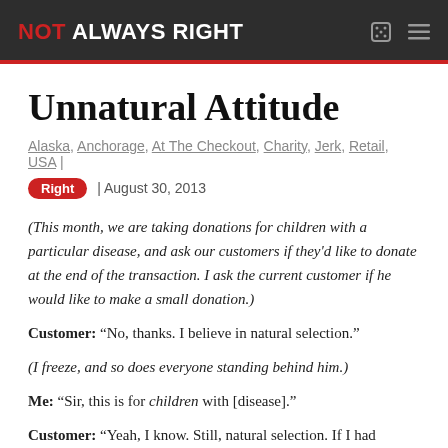NOT ALWAYS RIGHT
Unnatural Attitude
Alaska, Anchorage, At The Checkout, Charity, Jerk, Retail, USA
Right | August 30, 2013
(This month, we are taking donations for children with a particular disease, and ask our customers if they'd like to donate at the end of the transaction. I ask the current customer if he would like to make a small donation.)
Customer: “No, thanks. I believe in natural selection.”
(I freeze, and so does everyone standing behind him.)
Me: “Sir, this is for children with [disease].”
Customer: “Yeah, I know. Still, natural selection. If I had